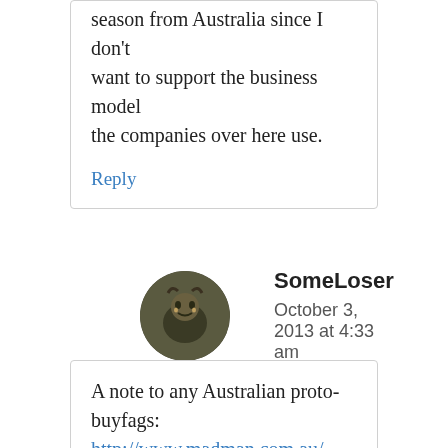season from Australia since I don't want to support the business model the companies over here use.
Reply
SomeLoser
October 3, 2013 at 4:33 am
A note to any Australian proto-buyfags: http://www.madman.com.au/ and http://www.sirenvisual.com.au/ are the two main specialist distributors.